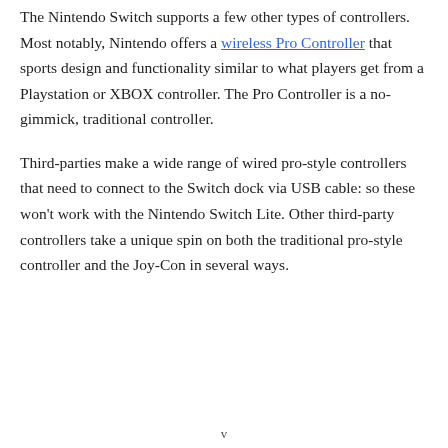The Nintendo Switch supports a few other types of controllers. Most notably, Nintendo offers a wireless Pro Controller that sports design and functionality similar to what players get from a Playstation or XBOX controller. The Pro Controller is a no-gimmick, traditional controller.
Third-parties make a wide range of wired pro-style controllers that need to connect to the Switch dock via USB cable: so these won't work with the Nintendo Switch Lite. Other third-party controllers take a unique spin on both the traditional pro-style controller and the Joy-Con in several ways.
v